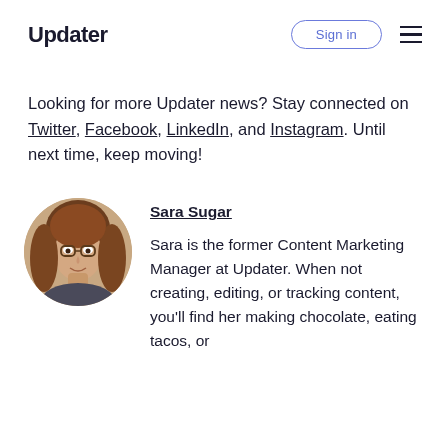Updater | Sign in
Looking for more Updater news? Stay connected on Twitter, Facebook, LinkedIn, and Instagram. Until next time, keep moving!
[Figure (photo): Circular headshot photo of Sara Sugar, a woman with long wavy brown hair and glasses, smiling]
Sara Sugar
Sara is the former Content Marketing Manager at Updater. When not creating, editing, or tracking content, you'll find her making chocolate, eating tacos, or